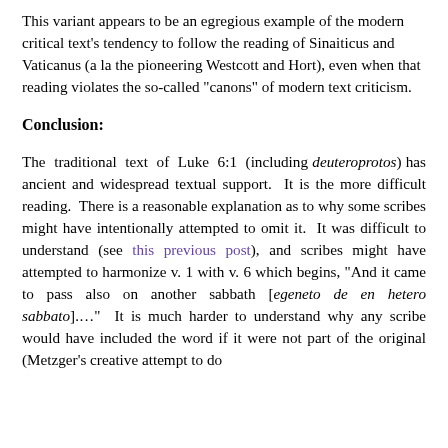This variant appears to be an egregious example of the modern critical text’s tendency to follow the reading of Sinaiticus and Vaticanus (a la the pioneering Westcott and Hort), even when that reading violates the so-called “canons” of modern text criticism.
Conclusion:
The traditional text of Luke 6:1 (including deuteroprotos) has ancient and widespread textual support. It is the more difficult reading. There is a reasonable explanation as to why some scribes might have intentionally attempted to omit it. It was difficult to understand (see this previous post), and scribes might have attempted to harmonize v. 1 with v. 6 which begins, “And it came to pass also on another sabbath [egeneto de en hetero sabbato]….” It is much harder to understand why any scribe would have included the word if it were not part of the original (Metzger’s creative attempt to do